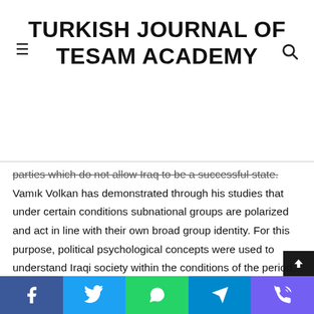TURKISH JOURNAL OF TESAM ACADEMY
parties which do not allow Iraq to be a successful state. Vamık Volkan has demonstrated through his studies that under certain conditions subnational groups are polarized and act in line with their own broad group identity. For this purpose, political psychological concepts were used to understand Iraqi society within the conditions of the period. The data reflecting the political psychological attitudes of Iraqis were collected and the reasons for social polarization and support for ethnic parties were analyzed. This study was concluded that when a new situation arises in a country and sub-national groups feel threatened, they tend to polarize and reflect it on their political behavior.
Social media share buttons: Facebook, Twitter, WhatsApp, Telegram, Viber